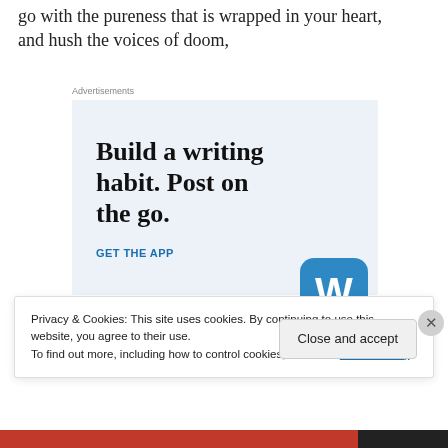go with the pureness that is wrapped in your heart, and hush the voices of doom,
Advertisements
[Figure (infographic): WordPress advertisement banner with text 'Build a writing habit. Post on the go.' and 'GET THE APP' call to action with WordPress logo]
Privacy & Cookies: This site uses cookies. By continuing to use this website, you agree to their use.
To find out more, including how to control cookies, see here: Cookie Policy
Close and accept